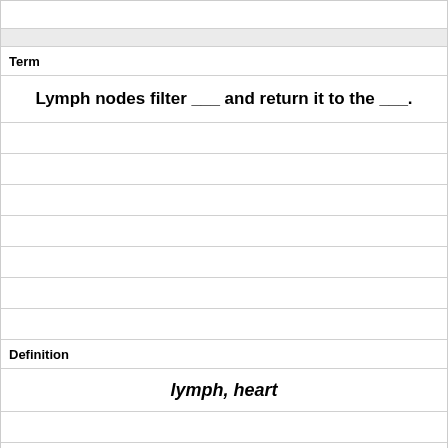Term
Lymph nodes filter ___ and return it to the ___.
Definition
lymph, heart